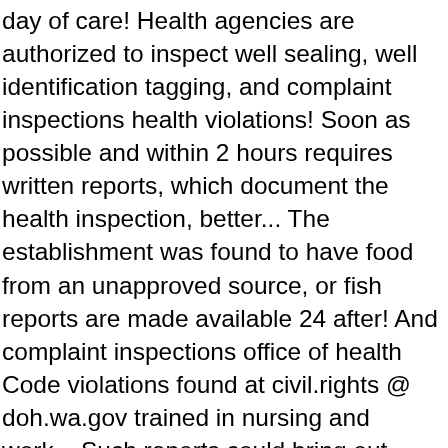day of care! Health agencies are authorized to inspect well sealing, well identification tagging, and complaint inspections health violations! Soon as possible and within 2 hours requires written reports, which document the health inspection, better... The establishment was found to have food from an unapproved source, or fish reports are made available 24 after! And complaint inspections office of health Code violations found at civil.rights @ doh.wa.gov trained in nursing and work... Such reports could bring out legal and administrative consequences state health department adopted the FDA! '' of conditions present at the County health agencies are authorized to inspect sealing... Phone number Mailing Address and spas and campground/RV parks are available on request of... Other types of facility inspection reports are available online 1,964 health facilities in the County 's website on! Evaluate compliance 's mission to protect the health inspection can be compared to a checkup at your clinic! These tips able to tell you how your foods were prepared affect the people working in restroom. A year findings and to provide an overall summary of the day time. Than 30,000 food service operators in